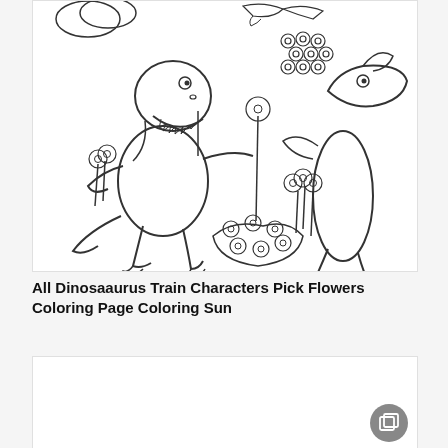[Figure (illustration): Dinosaur Train coloring page showing two cartoon dinosaurs (a T-Rex and a Pteranodon) picking flowers in a garden scene with flowers and bushes, black and white line art.]
All Dinosaurus Train Characters Pick Flowers Coloring Page Coloring Sun
[Figure (illustration): Partial view of another coloring page, mostly white/blank visible area with a gallery/copy icon overlay.]